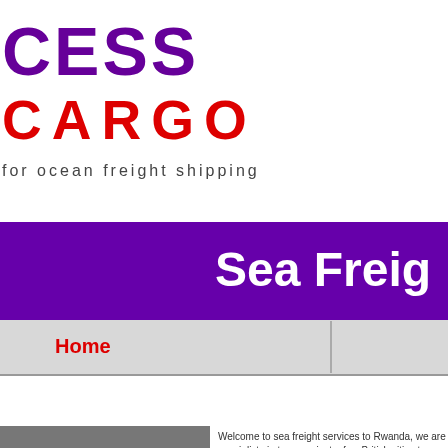[Figure (logo): Access Cargo logo with purple CESS text and red CARGO text, tagline 'for ocean freight shipping']
Sea Freig
Home
Shipping Se
Sea freight Services t
[Figure (photo): Gray placeholder image for sea freight photo]
Welcome to sea freight services to Rwanda, we are specialists in to name just a few British cities to United Kingdom.  did you know Felixstowe port, Southampton port Talbot, Bristol were travell days subject to service level take Rwanda from Britain then we w Freight Forwarders to Rwanda o in expert shipping and custo